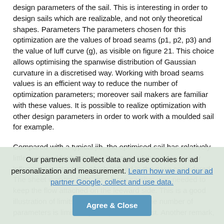design parameters of the sail. This is interesting in order to design sails which are realizable, and not only theoretical shapes. Parameters The parameters chosen for this optimization are the values of broad seams (p1, p2, p3) and the value of luff curve (g), as visible on figure 21. This choice allows optimising the spanwise distribution of Gaussian curvature in a discretised way. Working with broad seams values is an efficient way to reduce the number of optimization parameters; moreover sail makers are familiar with these values. It is possible to realize optimization with other design parameters in order to work with a moulded sail for example.
Compared with a typical jib, the optimised sail has relatively little twist and high camber. The twist of the sail is mainly influenced by the trim, which is fixed in the case considered. The sheet was too tight, so a large camber was needed to keep the flow attached on the leeward side. This is a good illustration of limits of optimisation when the number of parameters is limited by computational cost. Another remark,
Our partners will collect data and use cookies for ad personalization and measurement. Learn how we and our ad partner Google, collect and use data.
Agree & Close